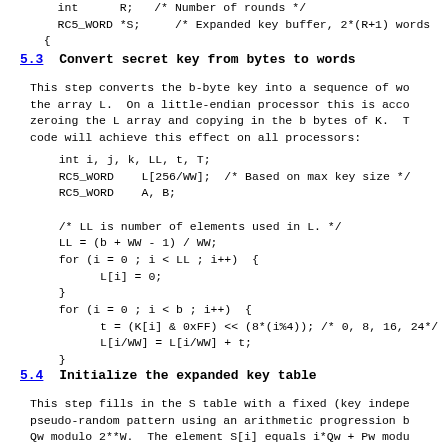int      R;   /* Number of rounds */
    RC5_WORD *S;     /* Expanded key buffer, 2*(R+1) words
  {
5.3  Convert secret key from bytes to words
This step converts the b-byte key into a sequence of wo
the array L.  On a little-endian processor this is acco
zeroing the L array and copying in the b bytes of K.  T
code will achieve this effect on all processors:
int i, j, k, LL, t, T;
   RC5_WORD    L[256/WW];  /* Based on max key size */
   RC5_WORD    A, B;

   /* LL is number of elements used in L. */
   LL = (b + WW - 1) / WW;
   for (i = 0 ; i < LL ; i++)  {
         L[i] = 0;
   }
   for (i = 0 ; i < b ; i++)  {
         t = (K[i] & 0xFF) << (8*(i%4)); /* 0, 8, 16, 24*/
         L[i/WW] = L[i/WW] + t;
   }
5.4  Initialize the expanded key table
This step fills in the S table with a fixed (key indepe
pseudo-random pattern using an arithmetic progression b
Qw modulo 2**W.  The element S[i] equals i*Qw + Pw modu
table could be precomputed and copied as needed on some